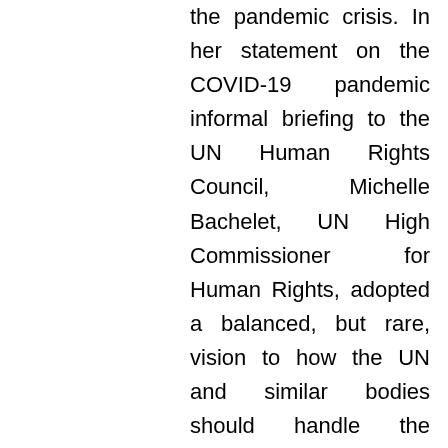the pandemic crisis. In her statement on the COVID-19 pandemic informal briefing to the UN Human Rights Council, Michelle Bachelet, UN High Commissioner for Human Rights, adopted a balanced, but rare, vision to how the UN and similar bodies should handle the pandemic crisis. She noted that “the pandemic is exposing the damaging impact of inequalities, in every society. In developed countries, fault-lines in access to health care; in